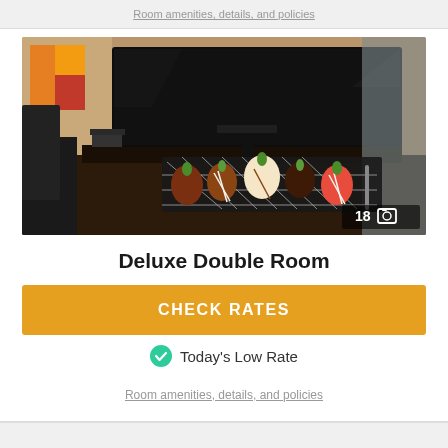Room amenities, details, and policies
[Figure (photo): Hotel Deluxe Double Room photo showing a tray of chocolate-dipped strawberries on a desk in front of a flat-screen TV. Photo counter shows 18 images.]
Deluxe Double Room
CHECK RATES
Today's Low Rate
Room amenities, details, and policies